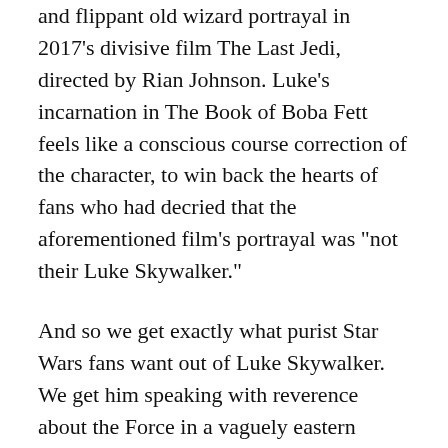and flippant old wizard portrayal in 2017's divisive film The Last Jedi, directed by Rian Johnson. Luke's incarnation in The Book of Boba Fett feels like a conscious course correction of the character, to win back the hearts of fans who had decried that the aforementioned film's portrayal was "not their Luke Skywalker."
And so we get exactly what purist Star Wars fans want out of Luke Skywalker. We get him speaking with reverence about the Force in a vaguely eastern philosophical way. We see him training Baby Yoda in a nearly identical manner that we had seen him training with the original Yoda in The Empire Strikes Back. There is quiet meditation. There is talk of the Jedi code. There is levitating space frogs. Nothing is surprising. Everything is executed at a high visual level. This is what the fans want.
...